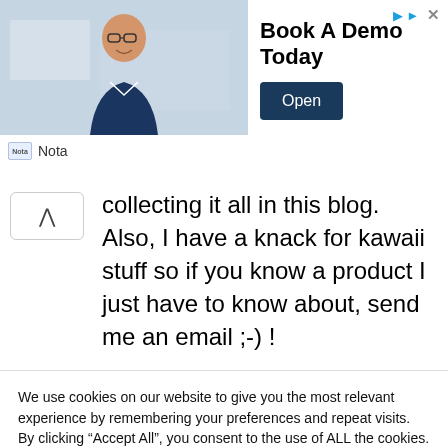[Figure (screenshot): Advertisement banner with photo of smiling man in glasses at a desk, text 'Book A Demo Today', and an 'Open' button. Brand label 'Nota' at bottom left. Icons (arrow, X) at top right.]
collecting it all in this blog. Also, I have a knack for kawaii stuff so if you know a product I just have to know about, send me an email ;-) !
We use cookies on our website to give you the most relevant experience by remembering your preferences and repeat visits. By clicking "Accept All", you consent to the use of ALL the cookies. However, you may visit "Cookie Settings" to provide a controlled consent.